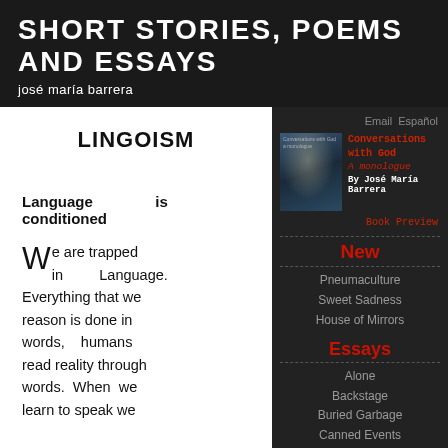SHORT STORIES, POEMS AND ESSAYS
josé maría barrera
LINGOISM
Email Español
[Figure (illustration): Book cover for Conversations with God - a monologue, showing dark atmospheric figures with light]
Conversations with God
A monologue
By José María Barrera
Book Preview
New
Pneumaculture
Sweet Sadness
House of Mirrors
Essays
Alone
Backstage
Buried Garbage
Canned Events
Cells and Cities
Language is conditioned
We are trapped in Language. Everything that we reason is done in words, humans read reality through words. When we learn to speak we